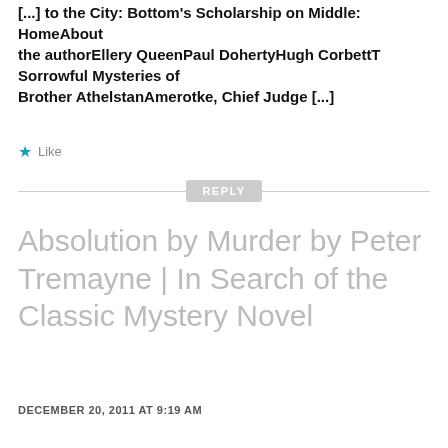[...] to the City: Bottom's Scholarship on Middle: HomeAbout the authorEllery QueenPaul DohertyHugh CorbettThe Sorrowful Mysteries of Brother AthelstanAmerotke, Chief Judge [...]
★ Like
REPLY
Absolution by Murder by Peter Tremayne | In Search of the Classic Mystery Novel
DECEMBER 20, 2011 AT 9:19 AM